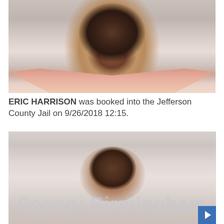[Figure (photo): Mugshot photo of Eric Harrison, a Black male wearing a red/orange and white top, against a neutral background.]
ERIC HARRISON was booked into the Jefferson County Jail on 9/26/2018 12:15.
[Figure (photo): Mugshot photo of a second individual, partially visible, with a 'Scoop: Birmingham' watermark overlaid.]